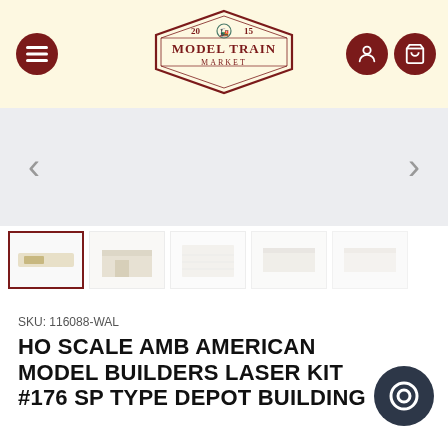[Figure (logo): Model Train Market logo — diamond/hexagon shaped border with '2015' at top, train graphic, text 'MODEL TRAIN MARKET' in dark red]
[Figure (screenshot): Product image viewer area showing a white/blank main image area with left and right navigation arrows]
[Figure (photo): Row of 5 product thumbnail images: first is selected (dark red border) showing a small product label, others show building/box photos faded]
SKU: 116088-WAL
HO SCALE AMB AMERICAN MODEL BUILDERS LASER KIT #176 SP TYPE DEPOT BUILDING